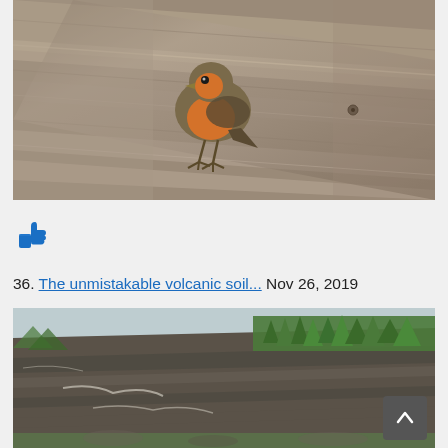[Figure (photo): A robin bird standing on a weathered wooden plank surface, shot at close range with blurred background]
[Figure (illustration): Blue thumbs-up like icon]
36. The unmistakable volcanic soil...  Nov 26, 2019
[Figure (photo): Volcanic rocky cliff face with green conifer trees growing on top, showing distinctive layered volcanic soil and rock formations]